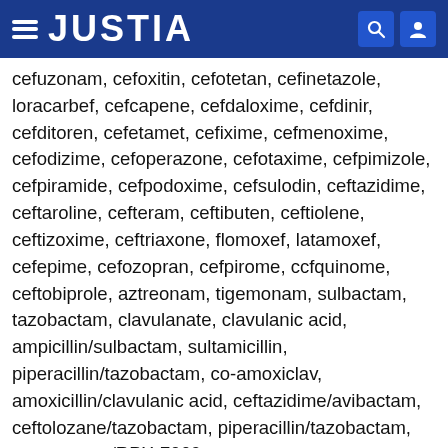JUSTIA
cefuzonam, cefoxitin, cefotetan, cefinetazole, loracarbef, cefcapene, cefdaloxime, cefdinir, cefditoren, cefetamet, cefixime, cefmenoxime, cefodizime, cefoperazone, cefotaxime, cefpimizole, cefpiramide, cefpodoxime, cefsulodin, ceftazidime, ceftaroline, cefteram, ceftibuten, ceftiolene, ceftizoxime, ceftriaxone, flomoxef, latamoxef, cefepime, cefozopran, cefpirome, ccfquinome, ceftobiprole, aztreonam, tigemonam, sulbactam, tazobactam, clavulanate, clavulanic acid, ampicillin/sulbactam, sultamicillin, piperacillin/tazobactam, co-amoxiclav, amoxicillin/clavulanic acid, ceftazidime/avibactam, ceftolozane/tazobactam, piperacillin/tazobactam, meropenem/RPX-7009, imipenem/cilastatin/relebactam, amoxicillin/clavulanate, or imipenem/cilastatin; sulfonamide-derived antibiotics such as, e.g., acetazolamide, benzolamide, bumetanide, celecoxib